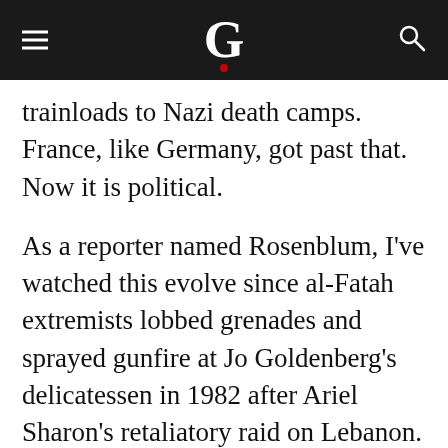G
trainloads to Nazi death camps. France, like Germany, got past that. Now it is political.
As a reporter named Rosenblum, I've watched this evolve since al-Fatah extremists lobbed grenades and sprayed gunfire at Jo Goldenberg's delicatessen in 1982 after Ariel Sharon's retaliatory raid on Lebanon. Badinter, the former justice minister, was Jewish; his father fled Russian pogroms in 1921 but was deported to a Nazi death camp. Simone Weil, a perennial cabinet member who represented France in the European Parliament, survived Auschwitz and Bergen-Belsen. Bernard Kouchner, ex-foreign